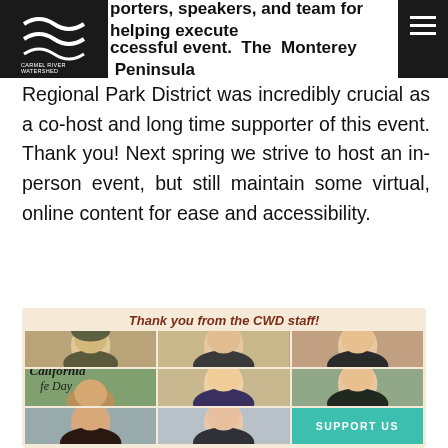Carmel River Watershed Conservancy — navigation header with logo and hamburger menu
porters, speakers, and team for helping execute a successful event. The Monterey Peninsula Regional Park District was incredibly crucial as a co-host and long time supporter of this event. Thank you! Next spring we strive to host an in-person event, but still maintain some virtual, online content for ease and accessibility.
[Figure (photo): A virtual meeting screenshot titled 'Thank you from the CWD staff!' showing a 3x3 grid of video participants, with a teal 'SUPPORT US' button overlay in the bottom right cell.]